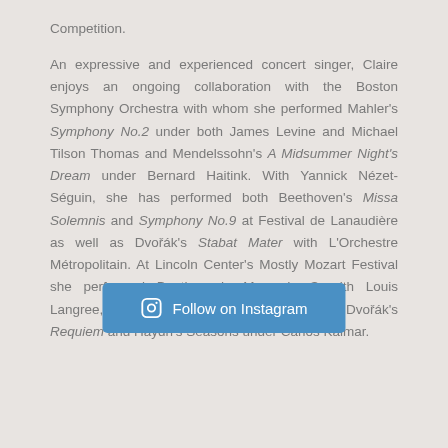Competition.
An expressive and experienced concert singer, Claire enjoys an ongoing collaboration with the Boston Symphony Orchestra with whom she performed Mahler's Symphony No.2 under both James Levine and Michael Tilson Thomas and Mendelssohn's A Midsummer Night's Dream under Bernard Haitink. With Yannick Nézet-Séguin, she has performed both Beethoven's Missa Solemnis and Symphony No.9 at Festival de Lanaudière as well as Dvořák's Stabat Mater with L'Orchestre Métropolitain. At Lincoln Center's Mostly Mozart Festival she performed Beethoven's Mass in C with Louis Langree, and at Grant Park Music Festival both Dvořák's Requiem and Haydn's Seasons under Carlos Kalmar.
[Figure (other): Button: Follow on Instagram with Instagram logo icon]